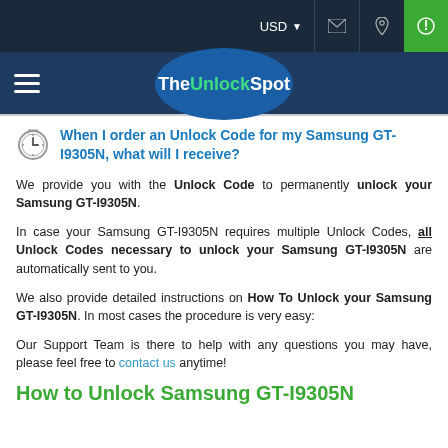USD  [mail icon] [location icon] [power icon]
TheUnlockSpot
When I order an Unlock Code for my Samsung GT-I9305N, what will I receive?
We provide you with the Unlock Code to permanently unlock your Samsung GT-I9305N.
In case your Samsung GT-I9305N requires multiple Unlock Codes, all Unlock Codes necessary to unlock your Samsung GT-I9305N are automatically sent to you.
We also provide detailed instructions on How To Unlock your Samsung GT-I9305N. In most cases the procedure is very easy:
Our Support Team is there to help with any questions you may have, please feel free to contact us anytime!
How to Unlock Samsung GT-I9305N